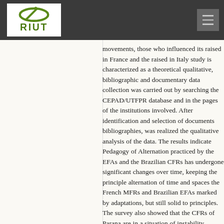[Figure (logo): RIUT logo — oval green leaf/ring with stylized 'i' above the text 'RIUT' in green, on white background]
movements, those who influenced its raised in France and the raised in Italy study is characterized as a theoretical qualitative, bibliographic and documentary data collection was carried out by searching the CEPAD/UTFPR database and in the pages of the institutions involved. After identification and selection of documents bibliographies, was realized the qualitative analysis of the data. The results indicate Pedagogy of Alternation practiced by the EFAs and the Brazilian CFRs has undergone significant changes over time, keeping the principle alternation of time and spaces the French MFRs and Brazilian EFAs marked by adaptations, but still solid to principles. The survey also showed that the CFRs of Parana are in a situation of instability